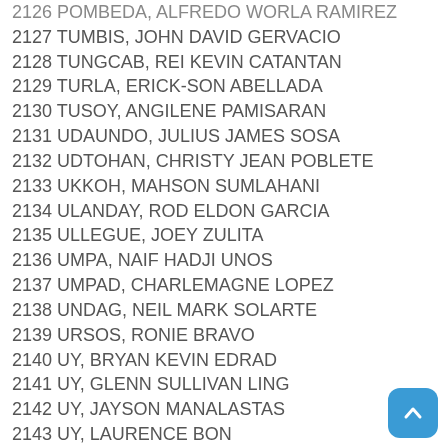2127 TUMBIS, JOHN DAVID GERVACIO
2128 TUNGCAB, REI KEVIN CATANTAN
2129 TURLA, ERICK-SON ABELLADA
2130 TUSOY, ANGILENE PAMISARAN
2131 UDAUNDO, JULIUS JAMES SOSA
2132 UDTOHAN, CHRISTY JEAN POBLETE
2133 UKKOH, MAHSON SUMLAHANI
2134 ULANDAY, ROD ELDON GARCIA
2135 ULLEGUE, JOEY ZULITA
2136 UMPA, NAIF HADJI UNOS
2137 UMPAD, CHARLEMAGNE LOPEZ
2138 UNDAG, NEIL MARK SOLARTE
2139 URSOS, RONIE BRAVO
2140 UY, BRYAN KEVIN EDRAD
2141 UY, GLENN SULLIVAN LING
2142 UY, JAYSON MANALASTAS
2143 UY, LAURENCE BON
2144 UY, MARIA ELEANOR DUMOGHO
2145 UY, ROMIEL RAE OCASTRO
2146 UY, VAUGHN WALTER PALOMARIA